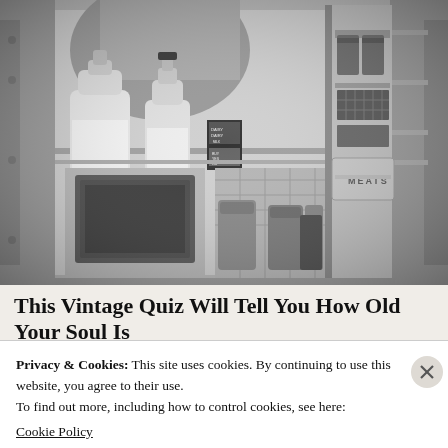[Figure (photo): Black and white photograph of the inside of a vintage open refrigerator, showing milk bottles on a shelf, a 'MEATS' compartment drawer, and various food containers on the lower shelf.]
This Vintage Quiz Will Tell You How Old Your Soul Is
Privacy & Cookies: This site uses cookies. By continuing to use this website, you agree to their use.
To find out more, including how to control cookies, see here:
Cookie Policy